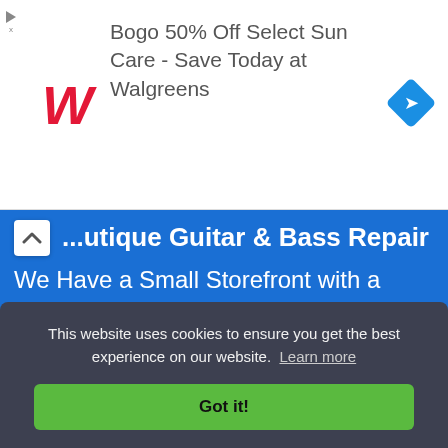[Figure (screenshot): Walgreens advertisement banner: Walgreens red italic W logo on left, text 'Bogo 50% Off Select Sun Care - Save Today at Walgreens', blue diamond navigation icon on right. Small play/close icons on far left.]
...utique Guitar & Bass Repair
We Have a Small Storefront with a Good Handful of Products in Stock.
[Figure (map): Google Maps partial view showing street grid with yellow diagonal road, green park area, grid of streets in light gray/beige tones.]
This website uses cookies to ensure you get the best experience on our website.  Learn more
Got it!